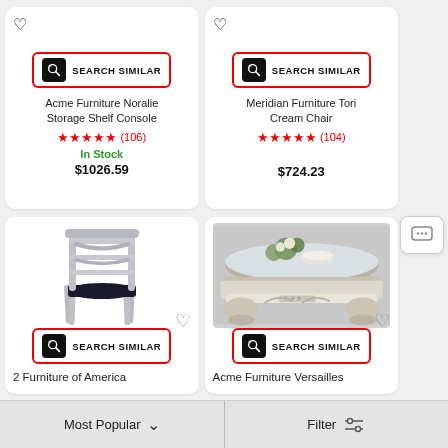[Figure (screenshot): E-commerce product listing grid showing furniture items with search similar buttons, ratings, stock status, and prices. Top row: Acme Furniture Noralie Storage Shelf Console ($1026.59, 5 stars, 106 reviews, In Stock) and Meridian Furniture Tori Cream Chair ($724.23, 5 stars, 104 reviews). Bottom row: 2 Furniture of America (silver chair image) and Acme Furniture Versailles (ornate coffee table image). Bottom bar with Most Popular sort and Filter options.]